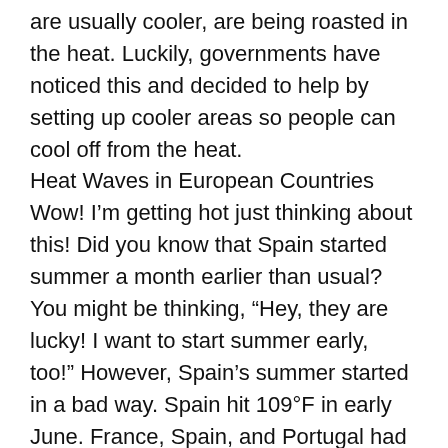are usually cooler, are being roasted in the heat. Luckily, governments have noticed this and decided to help by setting up cooler areas so people can cool off from the heat.
Heat Waves in European Countries
Wow! I'm getting hot just thinking about this! Did you know that Spain started summer a month earlier than usual? You might be thinking, “Hey, they are lucky! I want to start summer early, too!” However, Spain’s summer started in a bad way. Spain hit 109°F in early June. France, Spain, and Portugal had to limit water supplies due to water shortages caused by a lack of rain.
Horrible Heat Waves in India and Pakistan
Well, this year the heat in India and